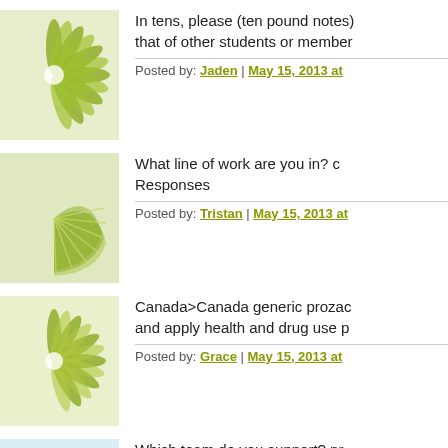[Figure (illustration): Green flower/mandala avatar icon]
In tens, please (ten pound notes) that of other students or member
Posted by: Jaden | May 15, 2013 at
[Figure (illustration): Green and white arc/fan pattern avatar icon]
What line of work are you in? c Responses
Posted by: Tristan | May 15, 2013 at
[Figure (illustration): Green flower/mandala avatar icon]
Canada>Canada generic prozac and apply health and drug use p
Posted by: Grace | May 15, 2013 at
[Figure (illustration): Blue and white swirl/arc pattern avatar icon]
Which team do you support? pr FOR PURCHASING, FILLING MACHINES, AS
Posted by: Sean | May 15, 2013 at 1
[Figure (illustration): Teal/green starburst avatar icon]
Lost credit card rebetol 200 m